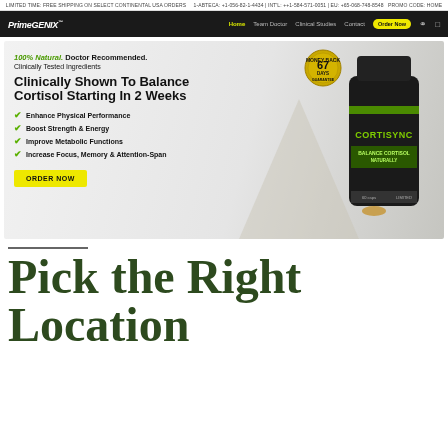LIMITED TIME: FREE SHIPPING ON SELECT CONTINENTAL USA ORDERS   1-ABTECA: +1-056-82-1-4434 | INT'L: ++1-584-571-0051 | EU: +65-068-748-8548  PROMO CODE: HOME
[Figure (screenshot): PrimeGENIX website navigation bar with logo, Home, Team Doctor, Clinical Studies, Contact links and Order Now button]
[Figure (screenshot): Hero banner: 100% Natural. Doctor Recommended. Clinically Tested Ingredients. Clinically Shown To Balance Cortisol Starting In 2 Weeks. Bullet points: Enhance Physical Performance, Boost Strength & Energy, Improve Metabolic Functions, Increase Focus, Memory & Attention-Span. ORDER NOW button. Product image of CORTISYNC bottle with 67 DAYS MONEY BACK GUARANTEE badge.]
Pick the Right Location